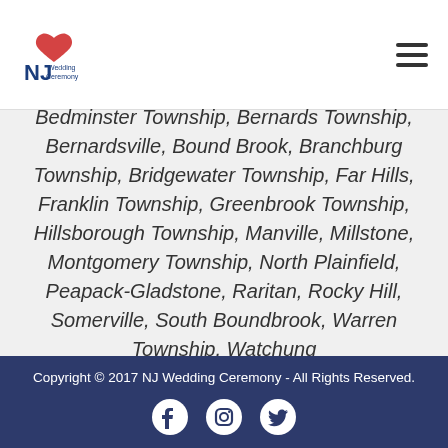NJ Wedding Ceremony logo and navigation
Bedminster Township, Bernards Township, Bernardsville, Bound Brook, Branchburg Township, Bridgewater Township, Far Hills, Franklin Township, Greenbrook Township, Hillsborough Township, Manville, Millstone, Montgomery Township, North Plainfield, Peapack-Gladstone, Raritan, Rocky Hill, Somerville, South Boundbrook, Warren Township, Watchung
Copyright © 2017 NJ Wedding Ceremony - All Rights Reserved.